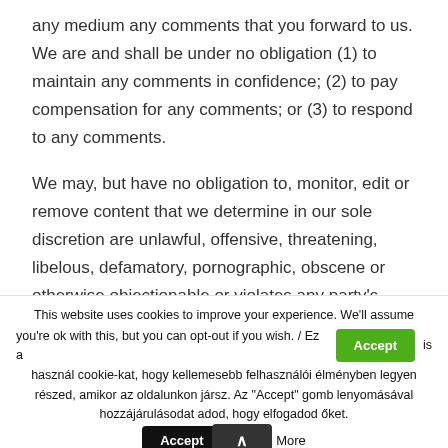any medium any comments that you forward to us. We are and shall be under no obligation (1) to maintain any comments in confidence; (2) to pay compensation for any comments; or (3) to respond to any comments.
We may, but have no obligation to, monitor, edit or remove content that we determine in our sole discretion are unlawful, offensive, threatening, libelous, defamatory, pornographic, obscene or otherwise objectionable or violates any party's intellectual property or these Terms of Use.
This website uses cookies to improve your experience. We'll assume you're ok with this, but you can opt-out if you wish. / Ez a [Accept] is használ cookie-kat, hogy kellemesebb felhasználói élményben legyen részed, amikor az oldalunkon jársz. Az "Accept" gomb lenyomásával hozzájárulásodat adod, hogy elfogadod őket. [Accept] Read More